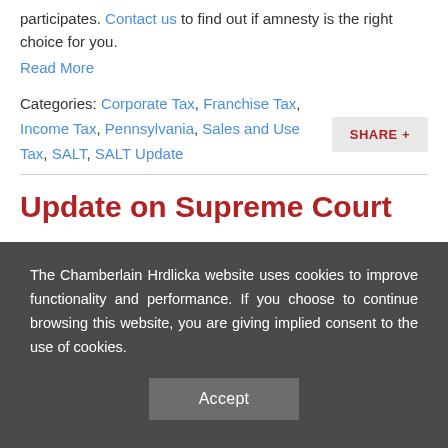participates. Contact us to find out if amnesty is the right choice for you.
Read More
Categories: Corporate Tax, Franchise Tax, Income Tax, Pennsylvania, Sales and Use Tax, SALT, SALT Update
Update on Supreme Court
The Chamberlain Hrdlicka website uses cookies to improve functionality and performance. If you choose to continue browsing this website, you are giving implied consent to the use of cookies.
Accept